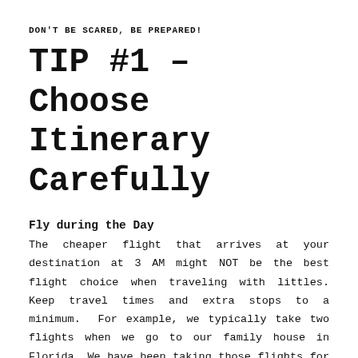DON'T BE SCARED, BE PREPARED!
TIP #1 – Choose Itinerary Carefully
Fly during the Day
The cheaper flight that arrives at your destination at 3 AM might NOT be the best flight choice when traveling with littles. Keep travel times and extra stops to a minimum. For example, we typically take two flights when we go to our family house in Florida. We have been taking those flights for years and we arrive at an airport that's 15 minutes from home.